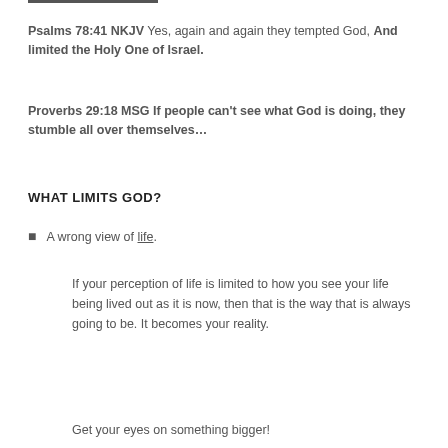Psalms 78:41 NKJV Yes, again and again they tempted God, And limited the Holy One of Israel.
Proverbs 29:18 MSG If people can't see what God is doing, they stumble all over themselves...
WHAT LIMITS GOD?
A wrong view of life.
If your perception of life is limited to how you see your life being lived out as it is now, then that is the way that is always going to be. It becomes your reality.
Get your eyes on something bigger!